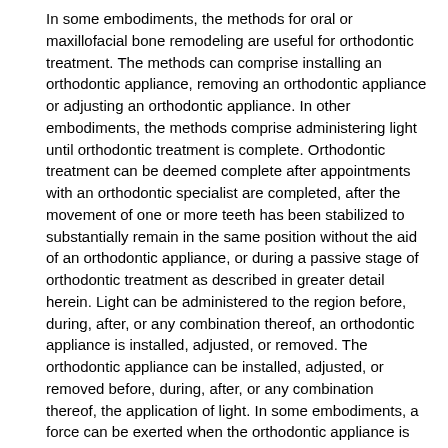In some embodiments, the methods for oral or maxillofacial bone remodeling are useful for orthodontic treatment. The methods can comprise installing an orthodontic appliance, removing an orthodontic appliance or adjusting an orthodontic appliance. In other embodiments, the methods comprise administering light until orthodontic treatment is complete. Orthodontic treatment can be deemed complete after appointments with an orthodontic specialist are completed, after the movement of one or more teeth has been stabilized to substantially remain in the same position without the aid of an orthodontic appliance, or during a passive stage of orthodontic treatment as described in greater detail herein. Light can be administered to the region before, during, after, or any combination thereof, an orthodontic appliance is installed, adjusted, or removed. The orthodontic appliance can be installed, adjusted, or removed before, during, after, or any combination thereof, the application of light. In some embodiments, a force can be exerted when the orthodontic appliance is installed or adjusted, or for a period of time following such installation or adjustment.
As described herein, the speed of bone remodeling, e.g.,